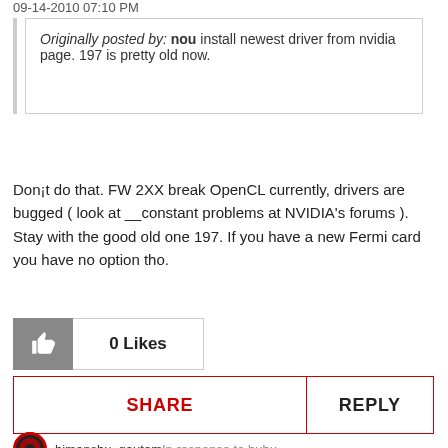09-14-2010 07:10 PM
Originally posted by: nou install newest driver from nvidia page. 197 is pretty old now.
Don¡t do that. FW 2XX break OpenCL currently, drivers are bugged ( look at __constant problems at NVIDIA's forums ). Stay with the good old one 197. If you have a new Fermi card you have no option tho.
0 Likes
SHARE   REPLY
himanshu_gautam In response to bubu